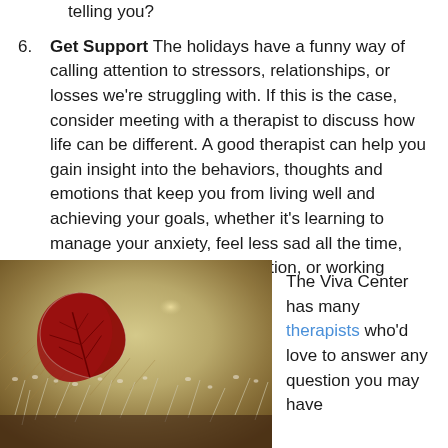telling you?
6. Get Support The holidays have a funny way of calling attention to stressors, relationships, or losses we're struggling with. If this is the case, consider meeting with a therapist to discuss how life can be different. A good therapist can help you gain insight into the behaviors, thoughts and emotions that keep you from living well and achieving your goals, whether it's learning to manage your anxiety, feel less sad all the time, leaving a stagnant work situation, or working through trauma.
[Figure (photo): Close-up photo of a red autumn leaf on frosted grass in a blurred golden field background]
The Viva Center has many therapists who'd love to answer any question you may have